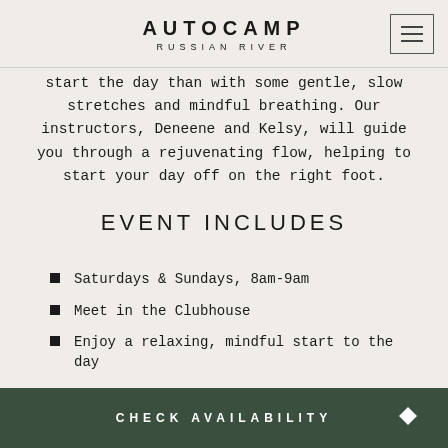AUTOCAMP RUSSIAN RIVER
start the day than with some gentle, slow stretches and mindful breathing. Our instructors, Deneene and Kelsy, will guide you through a rejuvenating flow, helping to start your day off on the right foot.
EVENT INCLUDES
Saturdays & Sundays, 8am-9am
Meet in the Clubhouse
Enjoy a relaxing, mindful start to the day
CHECK AVAILABILITY